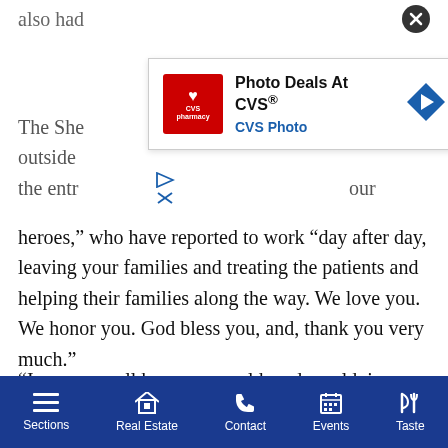also had
[Figure (screenshot): CVS Photo advertisement overlay showing 'Photo Deals At CVS®' with CVS Pharmacy logo and a blue navigation arrow icon, with a close (X) button in the top right corner]
The She... outside the entr... our heroes,” who have reported to work “day after day, leaving your families and treating the patients and helping their families along the way. We love you. We honor you. God bless you, and, thank you very much.”
“I guess we all know we could, and would, in some of the most trying times,” Andrew J. Mitchell, the CEO and president of Peconic Bay Medical Center, said of how everyone rose to the occasion during the pandemic. “The team work that went on between all of the different disciplines is a testament to this clinical leadership behind
Sections | Real Estate | Contact | Events | Taste